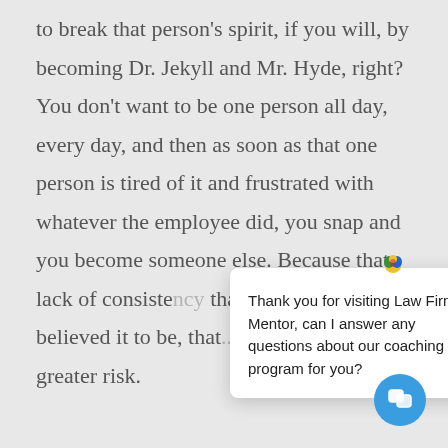to break that person's spirit, if you will, by becoming Dr. Jekyll and Mr. Hyde, right? You don't want to be one person all day, every day, and then as soon as that one person is tired of it and frustrated with whatever the employee did, you snap and you become someone else. Because that lack of consiste[ncy means] that the problem is n[ot what they] believed it to be, that[...] on, they're now at greater risk.
Thank you for visiting Law Firm Mentor, can I answer any questions about our coaching program for you?